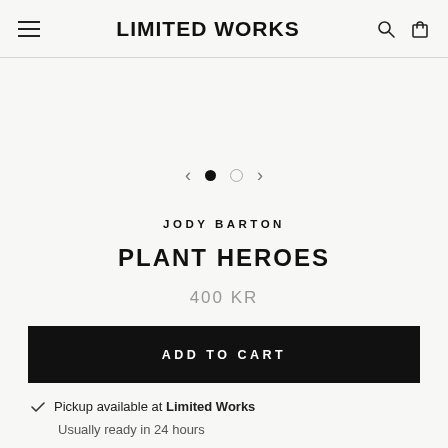LIMITED WORKS
[Figure (infographic): Image carousel navigation with left arrow, two dots (one filled, one empty), and right arrow]
JODY BARTON
PLANT HEROES
400 KR
ADD TO CART
Pickup available at Limited Works
Usually ready in 24 hours